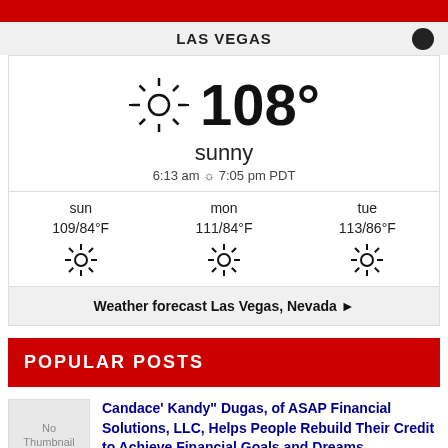LAS VEGAS
[Figure (infographic): Weather widget showing 108° sunny, current temperature for Las Vegas with sun icon, sunrise 6:13 am sunset 7:05 pm PDT, and 3-day forecast: sun 109/84°F, mon 111/84°F, tue 113/86°F, all sunny]
Weather forecast Las Vegas, Nevada ▶
POPULAR POSTS
[Figure (photo): No Thumbnail placeholder image]
Candace' Kandy" Dugas, of ASAP Financial Solutions, LLC, Helps People Rebuild Their Credit to Achieve Financial Goals and Dreams
15 June 2020 – Las Vegas, NV – Candace' Kandy"